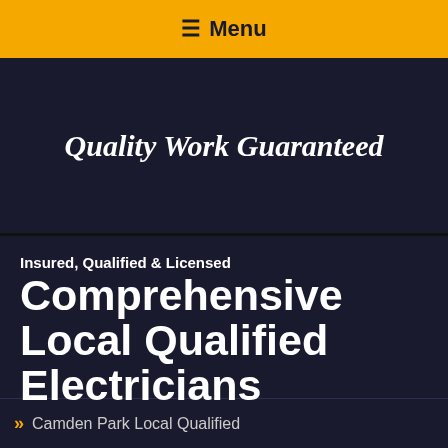☰ Menu
Quality Work Guaranteed
Insured, Qualified & Licensed
Comprehensive Local Qualified Electricians
Camden Park Local Qualified
EMAIL   CALL NOW